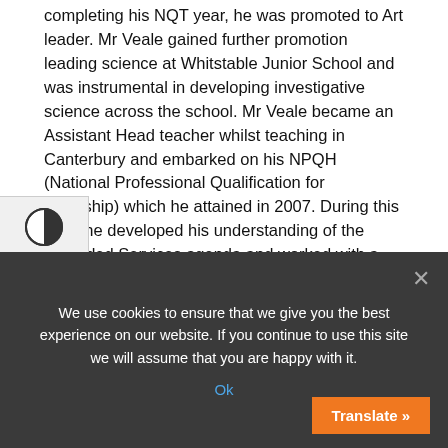completing his NQT year, he was promoted to Art leader. Mr Veale gained further promotion leading science at Whitstable Junior School and was instrumental in developing investigative science across the school. Mr Veale became an Assistant Head teacher whilst teaching in Canterbury and embarked on his NPQH (National Professional Qualification for Headship) which he attained in 2007. During this time, he developed his understanding of the Extended Services agenda and worked with a range of different stakeholders in order to improve the educational outcomes for children. He then took post as a Deputy Head teacher in a large junior school in Nford, before commencing his first headship in Medway in 10. Mr Veale became substantive head teacher of Atwood 2015.
Mr Veale's professional interests range from whole school
We use cookies to ensure that we give you the best experience on our website. If you continue to use this site we will assume that you are happy with it.
Ok
Translate »